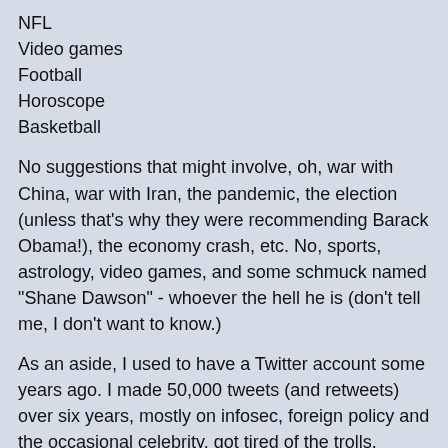NFL
Video games
Football
Horoscope
Basketball
No suggestions that might involve, oh, war with China, war with Iran, the pandemic, the election (unless that's why they were recommending Barack Obama!), the economy crash, etc. No, sports, astrology, video games, and some schmuck named "Shane Dawson" - whoever the hell he is (don't tell me, I don't want to know.)
As an aside, I used to have a Twitter account some years ago. I made 50,000 tweets (and retweets) over six years, mostly on infosec, foreign policy and the occasional celebrity, got tired of the trolls, backed up my posts, and dumped the account. I decided this past week to set it up again solely to follow people in infosec and prepping. I've no intention of tweeting or responding to tweets. Anyone who tweets at me gets blocked instantly. That's the only way to fly on Twitter.
Posted by: Richard Steven Hack | Jul 4 2020 10:35 utc | 221
Didn't see this coming...Fortunately I rarely use the bus - and never during this pandemic. Wonder how many other cities exhibit the same.